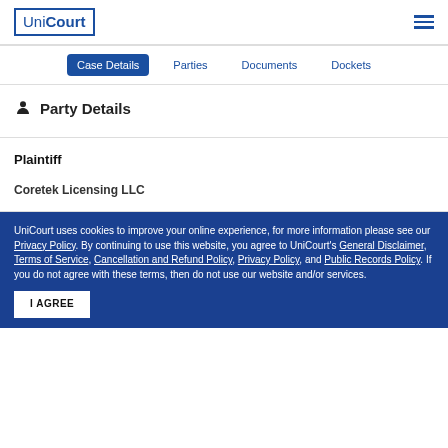UniCourt
Case Details | Parties | Documents | Dockets
Party Details
Plaintiff
Coretek Licensing LLC
UniCourt uses cookies to improve your online experience, for more information please see our Privacy Policy. By continuing to use this website, you agree to UniCourt's General Disclaimer, Terms of Service, Cancellation and Refund Policy, Privacy Policy, and Public Records Policy. If you do not agree with these terms, then do not use our website and/or services.
I AGREE